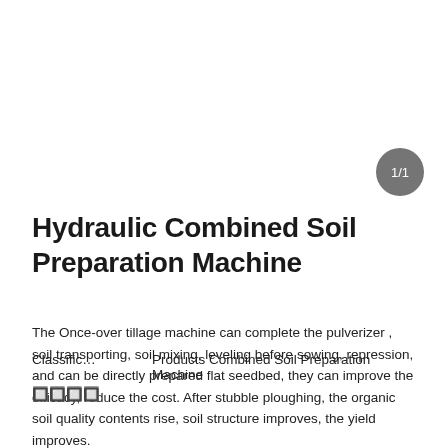1/1
Hydraulic Combined Soil Preparation Machine
The Once-over tillage machine can complete the pulverizer , soil transporting, soil mixing, leveling before sowing, repression, and can be directly prepared flat seedbed, they can improve the efficacy, reduce the cost. After stubble ploughing, the organic soil quality contents rise, soil structure improves, the yield improves.
Classific…	Products Combined Soil Preparation Machine
🔲🔲🔲🔲